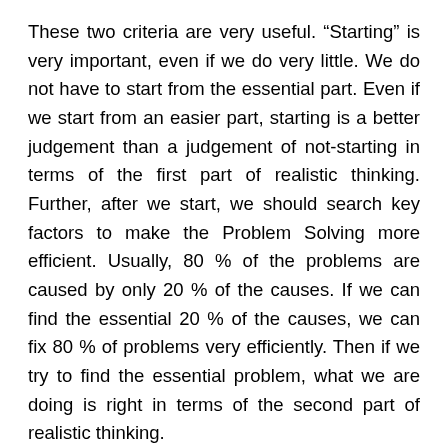These two criteria are very useful. “Starting” is very important, even if we do very little. We do not have to start from the essential part. Even if we start from an easier part, starting is a better judgement than a judgement of not-starting in terms of the first part of realistic thinking. Further, after we start, we should search key factors to make the Problem Solving more efficient. Usually, 80 % of the problems are caused by only 20 % of the causes. If we can find the essential 20 % of the causes, we can fix 80 % of problems very efficiently. Then if we try to find the essential problem, what we are doing is right in terms of the second part of realistic thinking.
Empirical thinking: When we use empirical thinking, we judge whether the situation is right or wrong based on our past experiences. Sometimes, this thinking